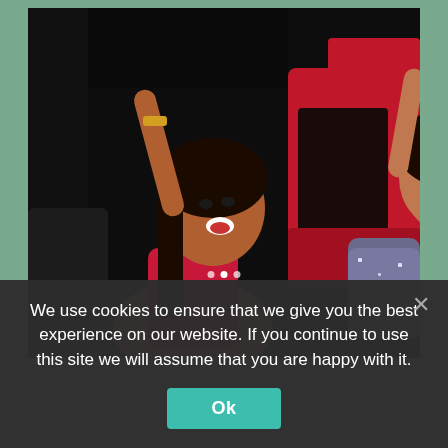[Figure (photo): Two women in festive attire sitting in a red convertible car with their arms raised in celebration, appearing joyful and excited.]
We use cookies to ensure that we give you the best experience on our website. If you continue to use this site we will assume that you are happy with it.